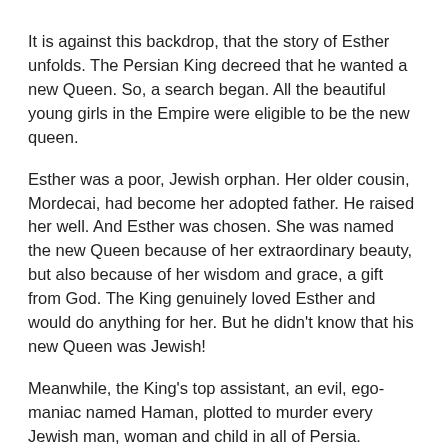It is against this backdrop, that the story of Esther unfolds. The Persian King decreed that he wanted a new Queen. So, a search began. All the beautiful young girls in the Empire were eligible to be the new queen.
Esther was a poor, Jewish orphan. Her older cousin, Mordecai, had become her adopted father. He raised her well. And Esther was chosen. She was named the new Queen because of her extraordinary beauty, but also because of her wisdom and grace, a gift from God. The King genuinely loved Esther and would do anything for her. But he didn't know that his new Queen was Jewish!
Meanwhile, the King's top assistant, an evil, ego-maniac named Haman, plotted to murder every Jewish man, woman and child in all of Persia. Esther's cousin Mordecai raised Esther, and refused to bow down to Haman on the steps of the King's court.